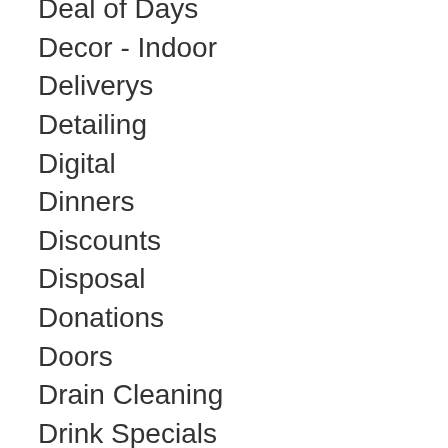Deal of Days
Decor - Indoor
Deliverys
Detailing
Digital
Dinners
Discounts
Disposal
Donations
Doors
Drain Cleaning
Drink Specials
Driveway Sealing
Drone Services
Dry Cleaners